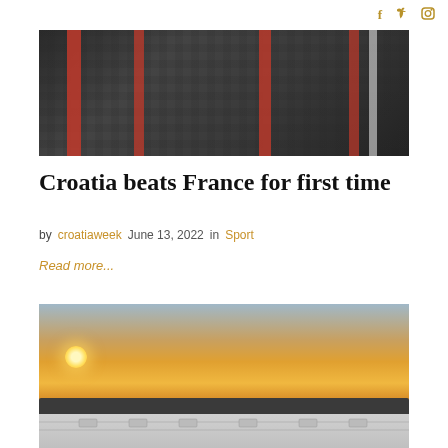social icons: facebook, twitter, instagram
[Figure (photo): Croatia football jerseys with checkered pattern and red stripes, dark background]
Croatia beats France for first time
by croatiaweek  June 13, 2022  in  Sport
Read more...
[Figure (photo): Sunset over rooftop and treeline, orange sky with sun low on horizon]